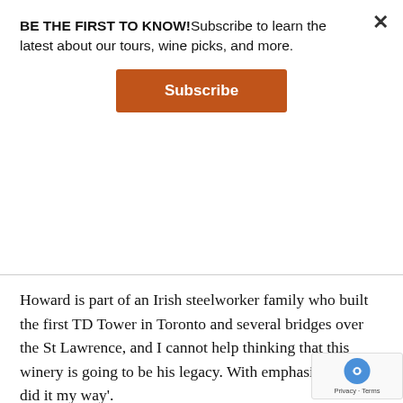BE THE FIRST TO KNOW!Subscribe to learn the latest about our tours, wine picks, and more.
[Figure (other): Subscribe button, orange background with white bold text 'Subscribe']
Howard is part of an Irish steelworker family who built the first TD Tower in Toronto and several bridges over the St Lawrence, and I cannot help thinking that this winery is going to be his legacy. With emphasis on "˜I did it my way'.
For help, Howard has experienced Niagara hands in vineyard manager Duarte Oliveira and winemaker Andre Lipinski, and the first batch of wines are promising, not over priced at $16 "” $25. Best of all, they com with some very nice labels you would be d...